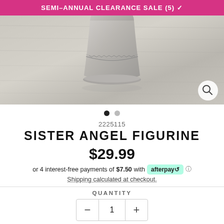SEMI-ANNUAL CLEARANCE SALE (5)
[Figure (photo): Close-up photo of a silver/pewter angel figurine base on a wood surface background]
2225115
SISTER ANGEL FIGURINE
$29.99
or 4 interest-free payments of $7.50 with afterpay
Shipping calculated at checkout.
QUANTITY
1